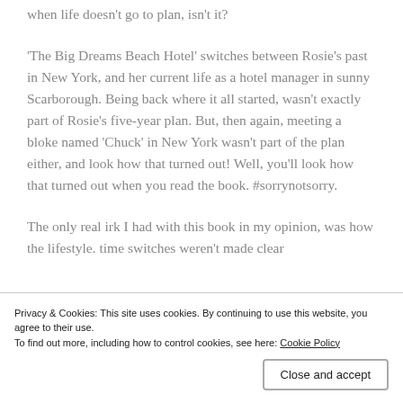when life doesn't go to plan, isn't it?
'The Big Dreams Beach Hotel' switches between Rosie's past in New York, and her current life as a hotel manager in sunny Scarborough. Being back where it all started, wasn't exactly part of Rosie's five-year plan. But, then again, meeting a bloke named 'Chuck' in New York wasn't part of the plan either, and look how that turned out! Well, you'll look how that turned out when you read the book. #sorrynotsorry.
The only real irk I had with this book in my opinion, was how the lifestyle. time switches weren't made clear
Privacy & Cookies: This site uses cookies. By continuing to use this website, you agree to their use.
To find out more, including how to control cookies, see here: Cookie Policy
Close and accept